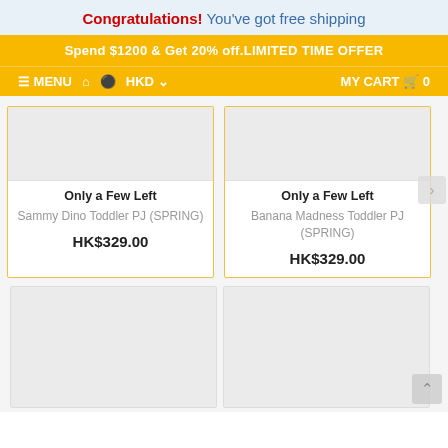Congratulations! You've got free shipping
Spend $1200 & Get 20% off.LIMITED TIME OFFER
≡ MENU  🏠  👤  HKD ▾    MY CART 🛒 0
Only a Few Left
Sammy Dino Toddler PJ (SPRING)
HK$329.00
Only a Few Left
Banana Madness Toddler PJ (SPRING)
HK$329.00
[Figure (photo): Empty product image placeholder (grey box) for bottom left card]
[Figure (photo): Empty product image placeholder (grey box) for bottom right card]